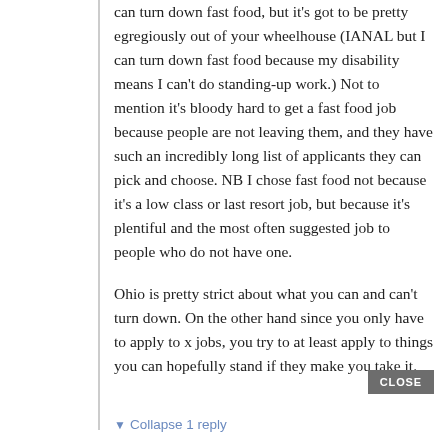can turn down fast food, but it's got to be pretty egregiously out of your wheelhouse (IANAL but I can turn down fast food because my disability means I can't do standing-up work.) Not to mention it's bloody hard to get a fast food job because people are not leaving them, and they have such an incredibly long list of applicants they can pick and choose. NB I chose fast food not because it's a low class or last resort job, but because it's plentiful and the most often suggested job to people who do not have one.
Ohio is pretty strict about what you can and can't turn down. On the other hand since you only have to apply to x jobs, you try to at least apply to things you can hopefully stand if they make you take it.
CLOSE
▼ Collapse 1 reply